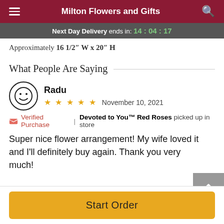Milton Flowers and Gifts
Next Day Delivery ends in: 14:04:17
Approximately 16 1/2" W x 20" H
What People Are Saying
Radu
★ ★ ★ ★ ★   November 10, 2021
✓ Verified Purchase | Devoted to You™ Red Roses picked up in store
Super nice flower arrangement! My wife loved it and I'll definitely buy again. Thank you very much!
Start Order